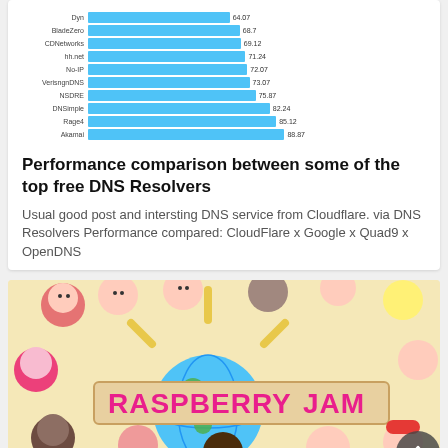[Figure (bar-chart): DNS resolver performance comparison]
Performance comparison between some of the top free DNS Resolvers
Usual good post and intersting DNS service from Cloudflare. via DNS Resolvers Performance compared: CloudFlare x Google x Quad9 x OpenDNS
[Figure (illustration): Raspberry Jam promotional illustration showing cartoon children around a globe with RASPBERRY JAM text banner]